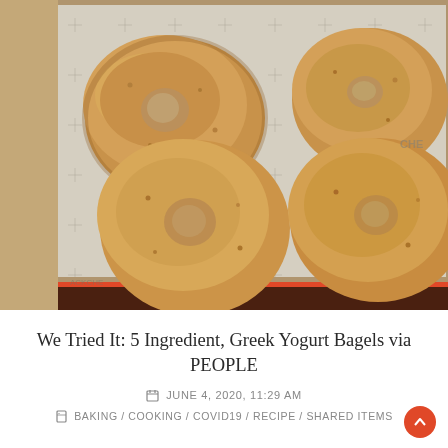[Figure (photo): Four golden-brown Greek yogurt bagels on parchment paper on a baking tray, photographed from above. The bagels are arranged in two rows of two, with visible holes and a rustic, home-baked appearance.]
We Tried It: 5 Ingredient, Greek Yogurt Bagels via PEOPLE
JUNE 4, 2020, 11:29 AM
BAKING / COOKING / COVID19 / RECIPE / SHARED ITEMS